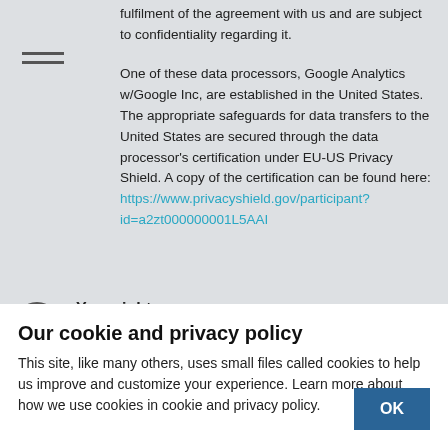fulfilment of the agreement with us and are subject to confidentiality regarding it.
One of these data processors, Google Analytics w/Google Inc, are established in the United States. The appropriate safeguards for data transfers to the United States are secured through the data processor's certification under EU-US Privacy Shield. A copy of the certification can be found here: https://www.privacyshield.gov/participant?id=a2zt000000001L5AAI
4 Your rights
To create transparency regarding the
Our cookie and privacy policy
This site, like many others, uses small files called cookies to help us improve and customize your experience. Learn more about how we use cookies in cookie and privacy policy.